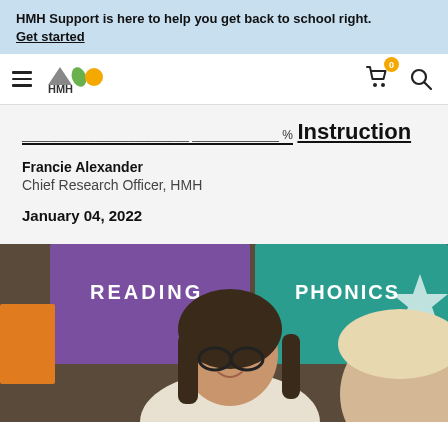HMH Support is here to help you get back to school right. Get started
[Figure (logo): HMH logo with geometric shapes (triangle, leaf, circle in grey, green, orange) and navigation bar with hamburger menu, cart icon with 0 badge, and search icon]
Instruction
Francie Alexander
Chief Research Officer, HMH
January 04, 2022
[Figure (photo): A teacher with glasses and long dark hair smiling at a student in a classroom, with colorful READING and PHONICS bulletin boards in the background]